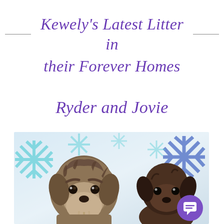Kewely's Latest Litter in their Forever Homes
Ryder and Jovie
[Figure (photo): Two schnauzer puppies side by side in front of a white and blue snowflake-patterned background. The left puppy is slightly larger with shaggy brown/grey fur. The right puppy is darker brown. A purple chat bubble icon appears in the bottom-right corner of the photo.]